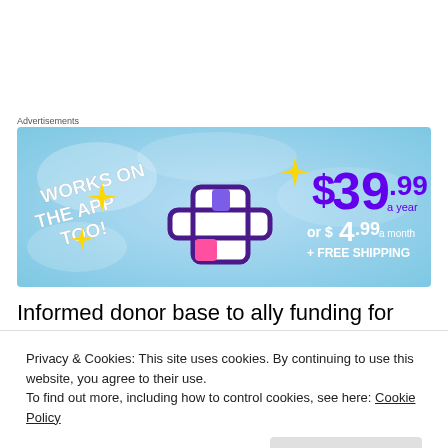Advertisements
[Figure (other): Advertisement banner: 'WORKS ON THE APP TOO!' with price $39.99 a year or $4.99 a month + FREE SHIPPING, featuring a purple/pink plus icon with sparkles on a blue background]
Informed donor base to ally funding for poverty reduction
with funding to reduce maternal mortality
Privacy & Cookies: This site uses cookies. By continuing to use this website, you agree to their use.
To find out more, including how to control cookies, see here: Cookie Policy
Evidence based practices: What evidence is used to